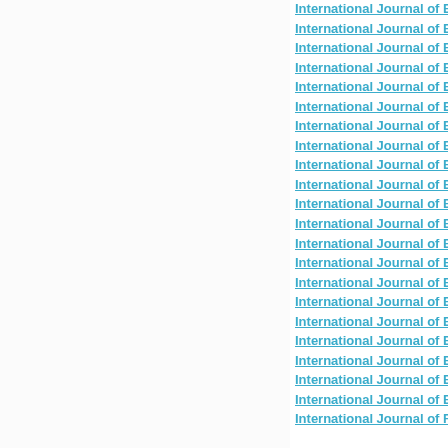International Journal of Engineer...
International Journal of Engineer...
International Journal of Engineer...
International Journal of Engineer...
International Journal of Engineer...
International Journal of Engineer...
International Journal of Engineer...
International Journal of Engineer...
International Journal of Engineer...
International Journal of Engineer...
International Journal of Engineer...
International Journal of English a...
International Journal of English ...
International Journal of English ...
International Journal of English ...
International Journal of English ...
International Journal of Enterpris...
International Journal of Environ...
International Journal of Environ...
International Journal of Environ...
International Journal of Environ...
International Journal of Farmin...